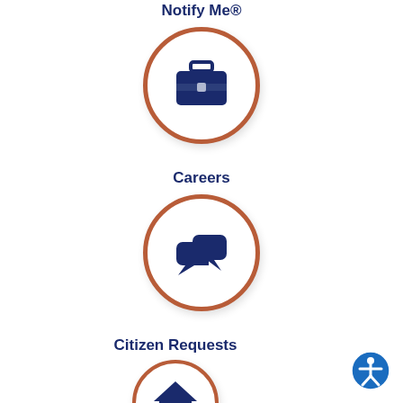Notify Me®
[Figure (illustration): Circle icon with a briefcase/jobs icon inside, orange border]
Careers
[Figure (illustration): Circle icon with two speech/chat bubbles icon inside, orange border]
Citizen Requests
[Figure (illustration): Circle icon with a house and dollar sign icon inside, orange border, partially cut off]
[Figure (illustration): Accessibility icon (person with arms and legs) in blue circle, bottom right corner]